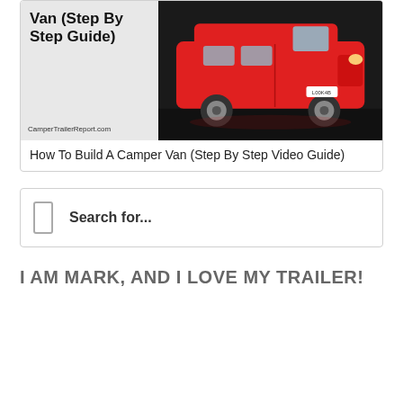[Figure (photo): Card showing a red camper van with bold text 'Van (Step By Step Guide)' on the left side and 'CamperTrailerReport.com' watermark. Red VW-style van photograph on the right side.]
How To Build A Camper Van (Step By Step Video Guide)
Search for...
I AM MARK, AND I LOVE MY TRAILER!